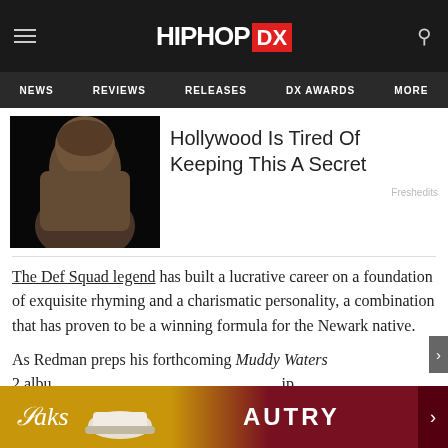HIPHOP DX
NEWS  REVIEWS  RELEASES  DX AWARDS  MORE
[Figure (photo): Portrait photo of a bald Black man against a dark background]
Hollywood Is Tired Of Keeping This A Secret
Freshedits
The Def Squad legend has built a lucrative career on a foundation of exquisite rhyming and a charismatic personality, a combination that has proven to be a winning formula for the Newark native.
As Redman preps his forthcoming Muddy Waters 2 albu... ip with T... quickly
[Figure (screenshot): Saks Fifth Avenue advertisement for Autry shoes with gold and dark red background]